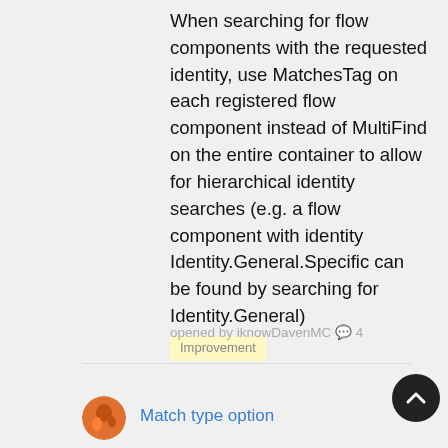When searching for flow components with the requested identity, use MatchesTag on each registered flow component instead of MultiFind on the entire container to allow for hierarchical identity searches (e.g. a flow component with identity Identity.General.Specific can be found by searching for Identity.General)
Improvement
opened by iknowDavenMC 💬 4
Match type option